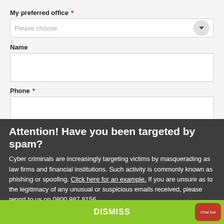My preferred office *
Please choose
Name
Phone *
Email *
Attention! Have you been targeted by spam?
Cyber criminals are increasingly targeting victims by masquerading as law firms and financial institutions. Such activity is commonly known as phishing or spoofing. Click here for an example. If you are unsure as to the legitimacy of any unusual or suspicious emails received, please report to us on 0800 987 8156.
DISMISS